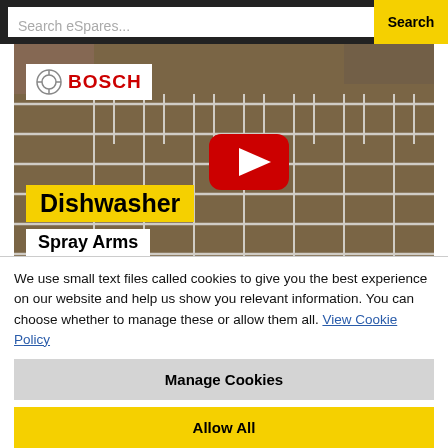Search eSpares... | Search
[Figure (screenshot): YouTube video thumbnail showing a Bosch dishwasher spray arms tutorial. Features Bosch logo, YouTube play button, and text 'Dishwasher Spray Arms' on yellow and white background overlays over a dishwasher rack image.]
Be safe - always unplug any appliance from the electricity supply before carrying out any work on it. If you are in any doubt contact a qualified repairer.
We use small text files called cookies to give you the best experience on our website and help us show you relevant information. You can choose whether to manage these or allow them all. View Cookie Policy
Manage Cookies
Allow All